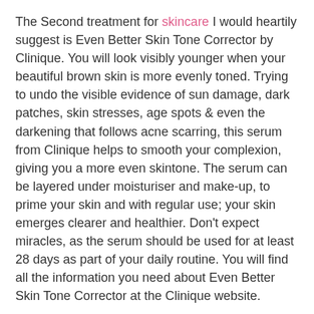The Second treatment for skincare I would heartily suggest is Even Better Skin Tone Corrector by Clinique. You will look visibly younger when your beautiful brown skin is more evenly toned. Trying to undo the visible evidence of sun damage, dark patches, skin stresses, age spots & even the darkening that follows acne scarring, this serum from Clinique helps to smooth your complexion, giving you a more even skintone. The serum can be layered under moisturiser and make-up, to prime your skin and with regular use; your skin emerges clearer and healthier. Don't expect miracles, as the serum should be used for at least 28 days as part of your daily routine. You will find all the information you need about Even Better Skin Tone Corrector at the Clinique website.
My Third suggestion is Anti-Blemish Solutions, an anti bacterial treatment by Clinique. Before we can commence